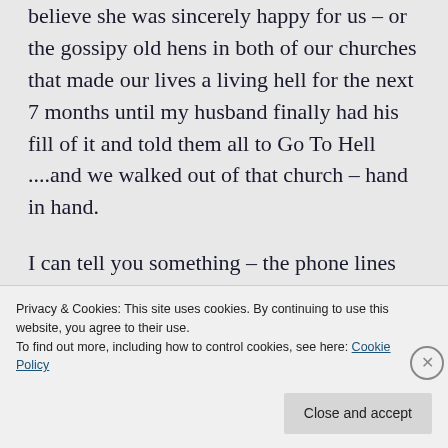believe she was sincerely happy for us – or the gossipy old hens in both of our churches that made our lives a living hell for the next 7 months until my husband finally had his fill of it and told them all to Go To Hell ....and we walked out of that church – hand in hand.

I can tell you something – the phone lines were burning up that day after
Privacy & Cookies: This site uses cookies. By continuing to use this website, you agree to their use.
To find out more, including how to control cookies, see here: Cookie Policy